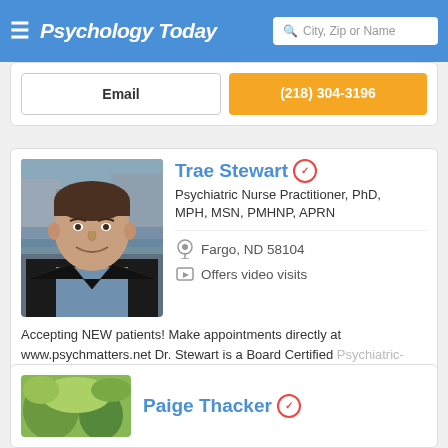Psychology Today — City, Zip or Name search
Email | (218) 304-3196
Trae Stewart
Psychiatric Nurse Practitioner, PhD, MPH, MSN, PMHNP, APRN
Fargo, ND 58104
Offers video visits
Accepting NEW patients! Make appointments directly at www.psychmatters.net Dr. Stewart is a Board Certified Psychiatric-Mental Health Nurse Practitioner with full
Email | (503) 832-6847
Paige Thacker